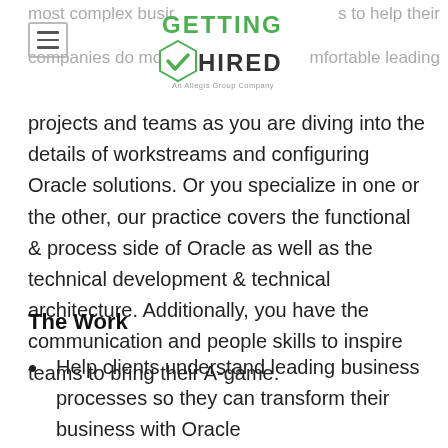most complex busir ... s to help their companies do more ... mfortable leading
[Figure (logo): Getting Hired logo - An Allegis Group Company]
projects and teams as you are diving into the details of workstreams and configuring Oracle solutions. Or you specialize in one or the other, our practice covers the functional & process side of Oracle as well as the technical development & technical architecture. Additionally, you have the communication and people skills to inspire teams to bring their A-game.
The Work
Help clients understand leading business processes so they can transform their business with Oracle
Conductonfigure, educate, and the...